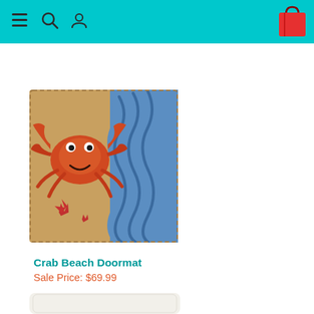[Figure (screenshot): E-commerce website header bar with teal/cyan background, hamburger menu icon, search icon, user account icon on the left, and a red shopping bag icon on the right]
[Figure (photo): Crab Beach Doormat product photo showing a rectangular doormat with a red/orange crab and blue wave pattern on a natural tan coir background with red starfish accents]
Crab Beach Doormat
Sale Price: $69.99
[Figure (photo): Partial view of a second product - appears to be a white/cream pillow or cushion at the bottom of the page]